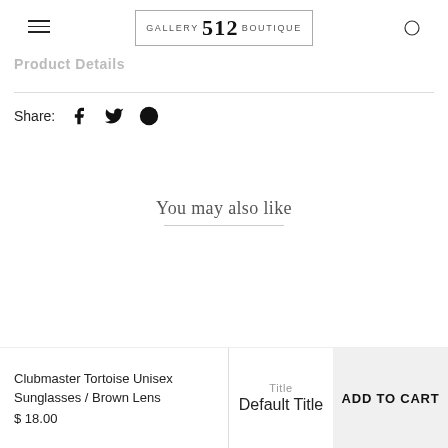GALLERY 512 BOUTIQUE
Product Details
Share:
You may also like
Clubmaster Tortoise Unisex Sunglasses / Brown Lens
$18.00
Title
Default Title
ADD TO CART